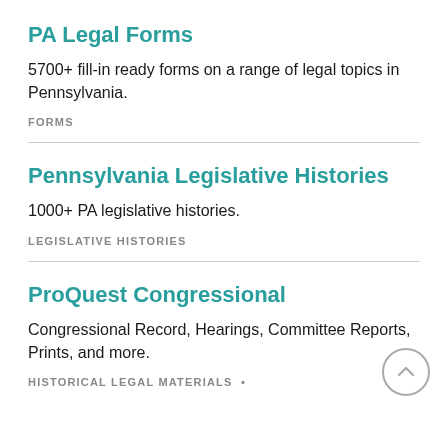PA Legal Forms
5700+ fill-in ready forms on a range of legal topics in Pennsylvania.
FORMS
Pennsylvania Legislative Histories
1000+ PA legislative histories.
LEGISLATIVE HISTORIES
ProQuest Congressional
Congressional Record, Hearings, Committee Reports, Prints, and more.
HISTORICAL LEGAL MATERIALS •